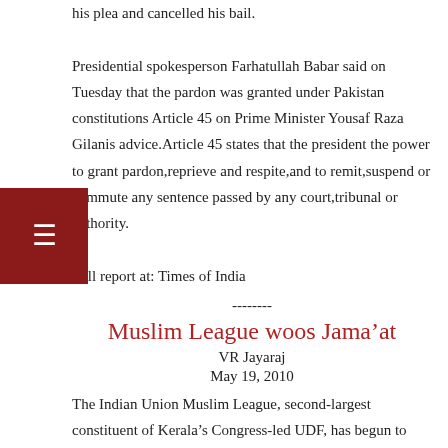his plea and cancelled his bail.

Presidential spokesperson Farhatullah Babar said on Tuesday that the pardon was granted under Pakistan constitutions Article 45 on Prime Minister Yousaf Raza Gilanis advice.Article 45 states that the president the power to grant pardon,reprieve and respite,and to remit,suspend or commute any sentence passed by any court,tribunal or authority.

Full report at: Times of India
--------
Muslim League woos Jama’at
VR Jayaraj
May 19, 2010
The Indian Union Muslim League, second-largest constituent of Kerala’s Congress-led UDF, has begun to woo the Jama’at-e-Islami after its decade-old supporter CPI (M) described it as a pro-extremist outfit. Top Muslim League leaders met the Jama’at leadership in Kozhikode on Tuesday to seek the organisation’s support in the local